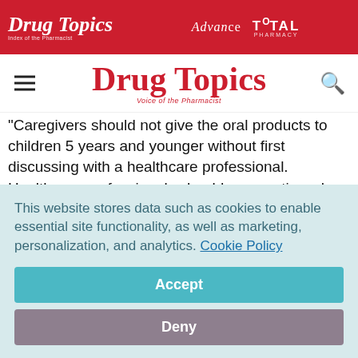Drug Topics | Advance | TOTAL PHARMACY
[Figure (logo): Drug Topics navigation bar with hamburger menu and search icon]
"Caregivers should not give the oral products to children 5 years and younger without first discussing with a healthcare professional. Healthcare professionals should use caution when recommending an oral dose of these products for children 5 years and younger. The rectal form of these products should never be given to children younger than 2 years." FDA stated.
This website stores data such as cookies to enable essential site functionality, as well as marketing, personalization, and analytics. Cookie Policy
Accept
Deny